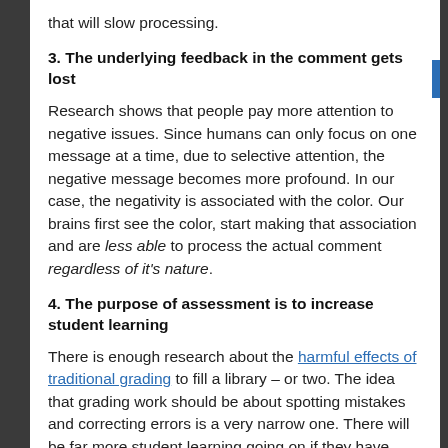that will slow processing.
3. The underlying feedback in the comment gets lost
Research shows that people pay more attention to negative issues. Since humans can only focus on one message at a time, due to selective attention, the negative message becomes more profound. In our case, the negativity is associated with the color. Our brains first see the color, start making that association and are less able to process the actual comment regardless of it's nature.
4. The purpose of assessment is to increase student learning
There is enough research about the harmful effects of traditional grading to fill a library – or two. The idea that grading work should be about spotting mistakes and correcting errors is a very narrow one. There will be far more student learning going on if they have self-assessed their